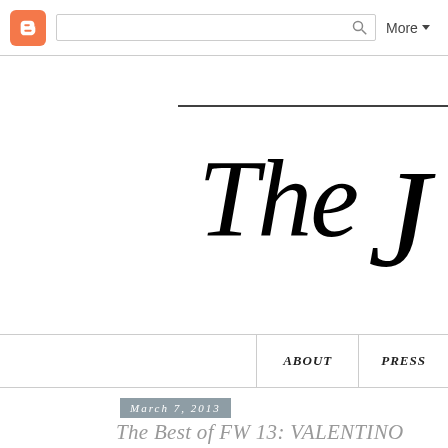Blogger navigation bar with search and More button
[Figure (logo): Blog logo showing cursive script text 'The...' in black ink, partially visible, with horizontal line above]
Navigation bar with ABOUT and PRESS links
March 7, 2013
The Best of FW 13: VALENTINO
[Figure (photo): Fashion runway photo showing a female model with headpiece/crown, partially visible second photo to the right showing dark background]